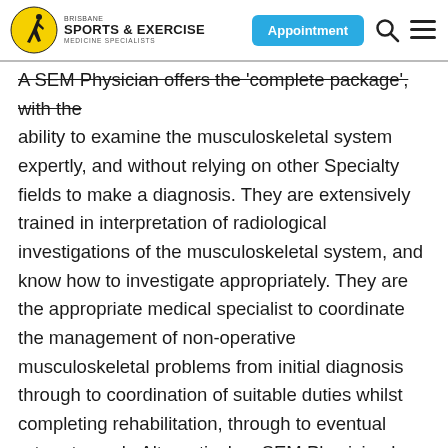Brisbane Sports & Exercise Medicine Specialists — Appointment
A SEM Physician offers the 'complete package', with the ability to examine the musculoskeletal system expertly, and without relying on other Specialty fields to make a diagnosis. They are extensively trained in interpretation of radiological investigations of the musculoskeletal system, and know how to investigate appropriately. They are the appropriate medical specialist to coordinate the management of non-operative musculoskeletal problems from initial diagnosis through to coordination of suitable duties whilst completing rehabilitation, through to eventual return to work. Alternatively a SEM Physician has the knowledge to determine when surgery is the definitive treatment, and when it is appropriate to refer to their surgical colleagues. SEM Physicians are able to det liability, permanent impairment, and incapacity in in workers.